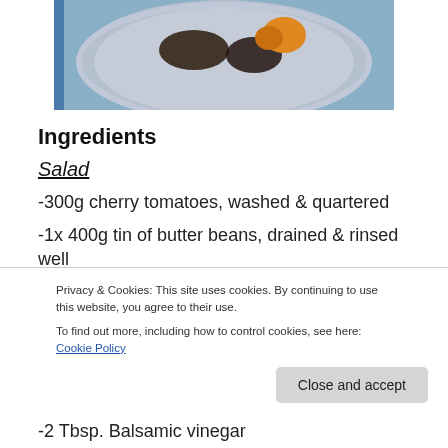[Figure (photo): Photo of a salad dish on a decorative plate, partially visible at the top of the page]
Ingredients
Salad
-300g cherry tomatoes, washed & quartered
-1x 400g tin of butter beans, drained & rinsed well
-1/4 small red onion, finely sliced
Privacy & Cookies: This site uses cookies. By continuing to use this website, you agree to their use.
To find out more, including how to control cookies, see here: Cookie Policy
-2 Tbsp. Balsamic vinegar